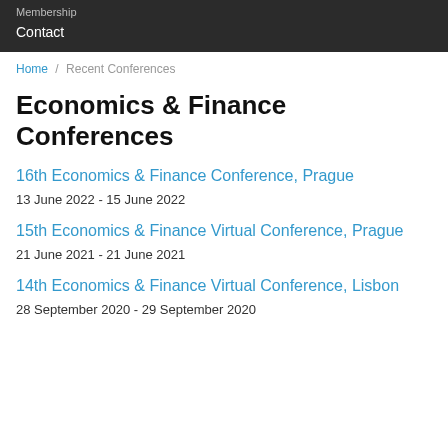Membership
Contact
Home / Recent Conferences
Economics & Finance Conferences
16th Economics & Finance Conference, Prague
13 June 2022 - 15 June 2022
15th Economics & Finance Virtual Conference, Prague
21 June 2021 - 21 June 2021
14th Economics & Finance Virtual Conference, Lisbon
28 September 2020 - 29 September 2020